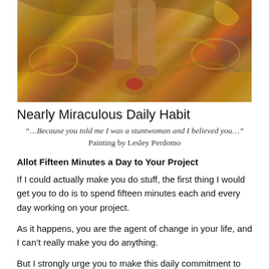[Figure (illustration): A colorful painting showing legs/feet of a figure against a highly detailed, swirling golden-yellow and brown decorative background with various intricate patterns and imagery.]
Nearly Miraculous Daily Habit
“…Because you told me I was a stuntwoman and I believed you…” Painting by Lesley Perdomo
Allot Fifteen Minutes a Day to Your Project
If I could actually make you do stuff, the first thing I would get you to do is to spend fifteen minutes each and every day working on your project.
As it happens, you are the agent of change in your life, and I can’t really make you do anything.
But I strongly urge you to make this daily commitment to